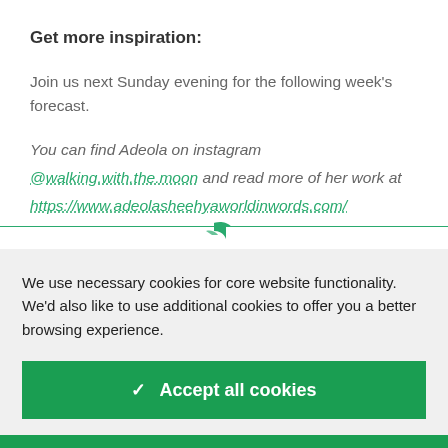Get more inspiration:
Join us next Sunday evening for the following week's forecast.
You can find Adeola on instagram @walking.with.the.moon and read more of her work at https://www.adeolasheehyaworldinwords.com/
We use necessary cookies for core website functionality. We'd also like to use additional cookies to offer you a better browsing experience.
✓  Accept all cookies